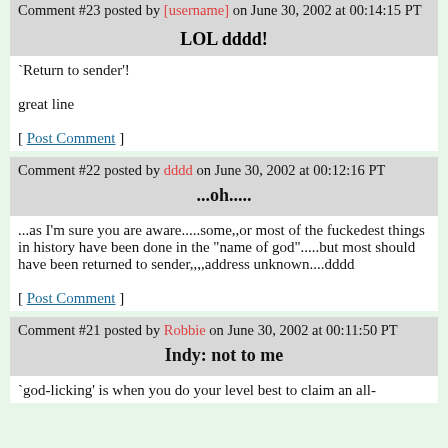Comment #23 posted by [username] on June 30, 2002 at 00:14:15 PT
LOL dddd!
`Return to sender'!

great line

[ Post Comment ]
Comment #22 posted by dddd on June 30, 2002 at 00:12:16 PT
...oh.....
...as I'm sure you are aware.....some,,or most of the fuckedest things in history have been done in the "name of god".....but most should have been returned to sender,,,,address unknown....dddd

[ Post Comment ]
Comment #21 posted by Robbie on June 30, 2002 at 00:11:50 PT
Indy: not to me
`god-licking' is when you do your level best to claim an all-